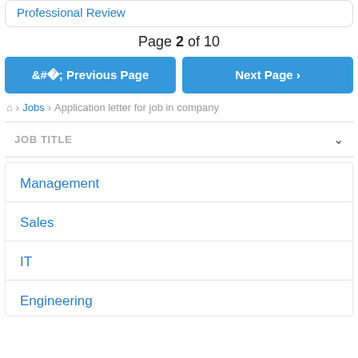Professional Review
Page 2 of 10
< Previous Page   Next Page >
Home > Jobs > Application letter for job in company
JOB TITLE
Management
Sales
IT
Engineering